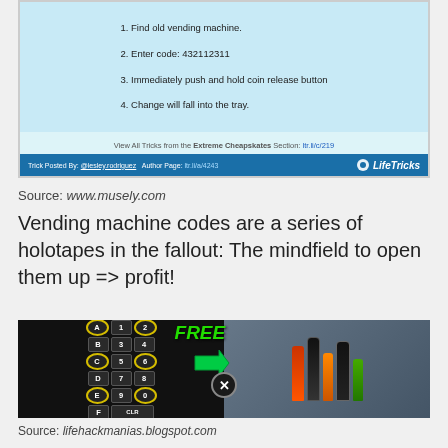[Figure (screenshot): Screenshot of a LifeTricks post about vending machine trick with steps: 1. Find old vending machine. 2. Enter code: 432112311 3. Immediately push and hold coin release button 4. Change will fall into the tray. With LifeTricks blue bar at bottom.]
Source: www.musely.com
Vending machine codes are a series of holotapes in the fallout: The mindfield to open them up => profit!
[Figure (photo): Photo of a vending machine keypad with letters A-F and numbers 0-9, some keys circled in yellow (A, C, 2, 6, E, 0). Green 'FREE' text at top right. A green arrow points to the right side showing drink bottles including Coca-Cola.]
Source: lifehackmanias.blogspot.com